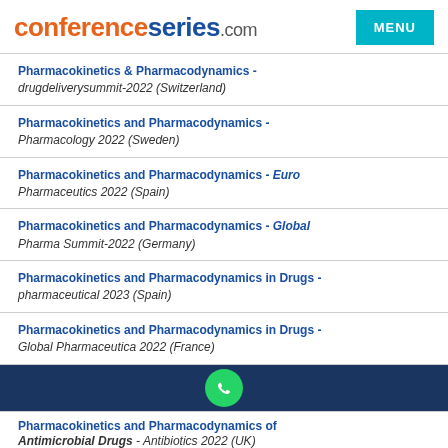conferenceseries.com
Pharmacokinetics & Pharmacodynamics - drugdeliverysummit-2022 (Switzerland)
Pharmacokinetics and Pharmacodynamics - Pharmacology 2022 (Sweden)
Pharmacokinetics and Pharmacodynamics - Euro Pharmaceutics 2022 (Spain)
Pharmacokinetics and Pharmacodynamics - Global Pharma Summit-2022 (Germany)
Pharmacokinetics and Pharmacodynamics in Drugs - pharmaceutical 2023 (Spain)
Pharmacokinetics and Pharmacodynamics in Drugs - Global Pharmaceutica 2022 (France)
Pharmacokinetics and Pharmacodynamics of Antimicrobial Drugs - Antibiotics 2022 (UK)